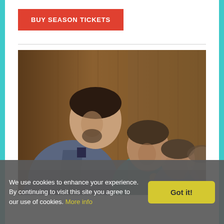BUY SEASON TICKETS
[Figure (photo): Four young men in formal attire bowing on a stage, with warm brown wooden backdrop. The man in the foreground wears a grey-blue suit and has dark hair and a beard. Behind him are three others in blue and grey shirts, also bowing.]
We use cookies to enhance your experience. By continuing to visit this site you agree to our use of cookies. More info